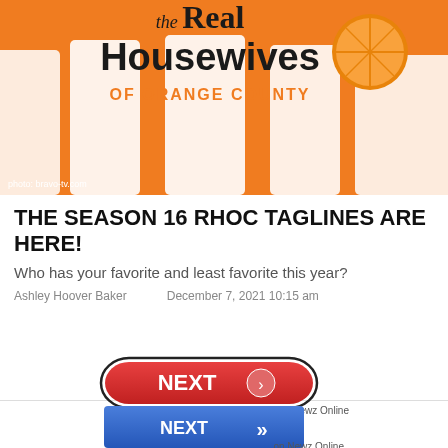[Figure (photo): The Real Housewives of Orange County promotional image on orange background with women in white dresses]
THE SEASON 16 RHOC TAGLINES ARE HERE!
Who has your favorite and least favorite this year?
Ashley Hoover Baker    December 7, 2021 10:15 am
[Figure (other): Red NEXT button with arrow, labeled 'on Newz Online']
[Figure (other): Blue NEXT button with double arrow, labeled 'on Newz Online']